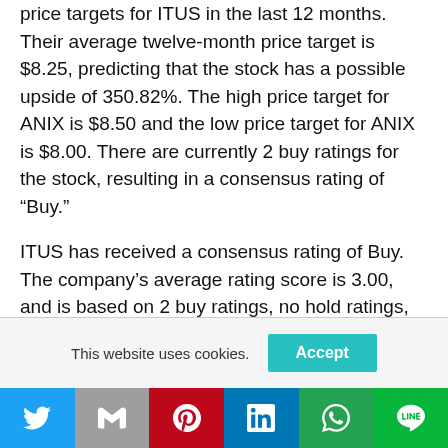price targets for ITUS in the last 12 months. Their average twelve-month price target is $8.25, predicting that the stock has a possible upside of 350.82%. The high price target for ANIX is $8.50 and the low price target for ANIX is $8.00. There are currently 2 buy ratings for the stock, resulting in a consensus rating of “Buy.”
ITUS has received a consensus rating of Buy. The company’s average rating score is 3.00, and is based on 2 buy ratings, no hold ratings, and no sell ratings. According to analysts’ consensus price
This website uses cookies.
[Figure (other): Social sharing bar with Twitter, Gmail, Pinterest, LinkedIn, WhatsApp, and LINE buttons]